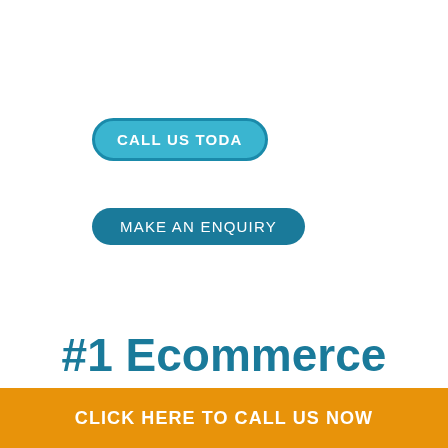[Figure (other): Rounded pill-shaped button with light blue background and white text reading CALL US TODA]
[Figure (other): Rounded pill-shaped button with dark teal background and white text reading MAKE AN ENQUIRY]
#1 Ecommerce
CLICK HERE TO CALL US NOW